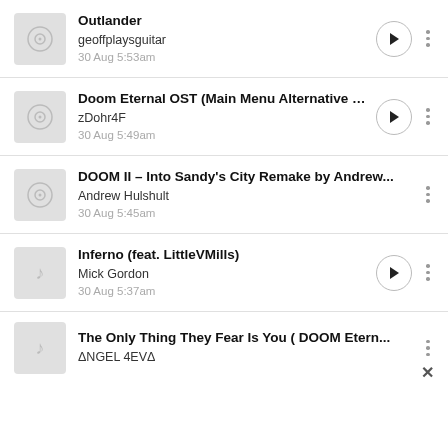Outlander | geoffplaysguitar | 30 Aug 5:53am
Doom Eternal OST (Main Menu Alternative Ver... | zDohr4F | 30 Aug 5:49am
DOOM II - Into Sandy's City Remake by Andrew... | Andrew Hulshult | 30 Aug 5:45am
Inferno (feat. LittleVMills) | Mick Gordon | 30 Aug 5:37am
The Only Thing They Fear Is You ( DOOM Etern... | ΔNGEL 4EVΔ